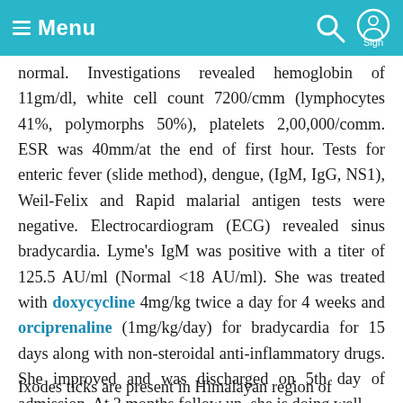≡ Menu  [search icon] [sign icon]
normal. Investigations revealed hemoglobin of 11gm/dl, white cell count 7200/cmm (lymphocytes 41%, polymorphs 50%), platelets 2,00,000/comm. ESR was 40mm/at the end of first hour. Tests for enteric fever (slide method), dengue, (IgM, IgG, NS1), Weil-Felix and Rapid malarial antigen tests were negative. Electrocardiogram (ECG) revealed sinus bradycardia. Lyme's IgM was positive with a titer of 125.5 AU/ml (Normal <18 AU/ml). She was treated with doxycycline 4mg/kg twice a day for 4 weeks and orciprenaline (1mg/kg/day) for bradycardia for 15 days along with non-steroidal anti-inflammatory drugs. She improved and was discharged on 5th day of admission. At 3 months follow up, she is doing well.
Ixodes ticks are present in Himalayan region of